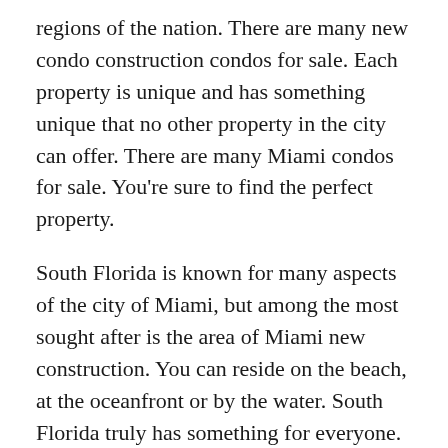regions of the nation. There are many new condo construction condos for sale. Each property is unique and has something unique that no other property in the city can offer. There are many Miami condos for sale. You're sure to find the perfect property.
South Florida is known for many aspects of the city of Miami, but among the most sought after is the area of Miami new construction. You can reside on the beach, at the oceanfront or by the water. South Florida truly has something for everyone. From the beautiful beaches of Coconut Grove to the exciting nightlife and shopping in Coral Gables, there is the perfect piece of land for you in the Miami region.